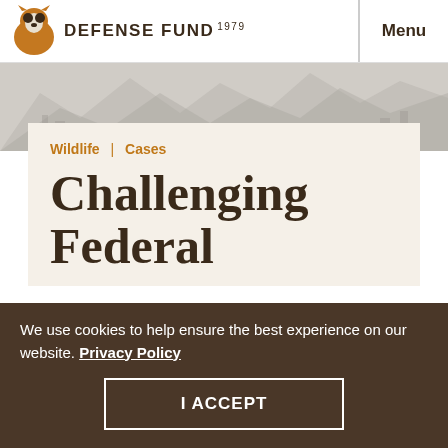DEFENSE FUND 1979 | Menu
[Figure (illustration): Mountain landscape background banner in grayscale]
Wildlife | Cases
Challenging Federal
We use cookies to help ensure the best experience on our website. Privacy Policy
I ACCEPT